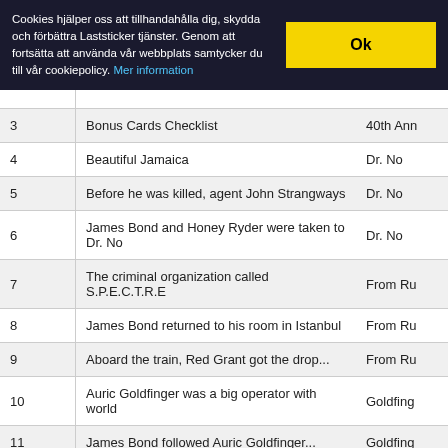Cookies hjälper oss att tillhandahålla dig, skydda och förbättra Laststicker tjänster. Genom att fortsätta att använda vår webbplats samtycker du till vår cookiepolicy. Mer information
| # | Description | Source |
| --- | --- | --- |
| 3 | Bonus Cards Checklist | 40th Ann |
| 4 | Beautiful Jamaica | Dr. No |
| 5 | Before he was killed, agent John Strangways | Dr. No |
| 6 | James Bond and Honey Ryder were taken to Dr. No | Dr. No |
| 7 | The criminal organization called S.P.E.C.T.R.E | From Ru |
| 8 | James Bond returned to his room in Istanbul | From Ru |
| 9 | Aboard the train, Red Grant got the drop... | From Ru |
| 10 | Auric Goldfinger was a big operator with world | Goldfing |
| 11 | James Bond followed Auric Goldfinger... | Goldfing |
| 12 | Pussy Galore insisted James Bond's charms... | Goldfing |
| 13 | S.P.E.C.T.R.E. agents Count Lippe and Fiona... | Thunder |
| 14 | James Bond's mission, codenamed Thunderball... | Thunder |
| 15 | When Domino Derval learned Emilio Largo... | Thunder |
| 16 | The Russians and Americans bristled... | You Only |